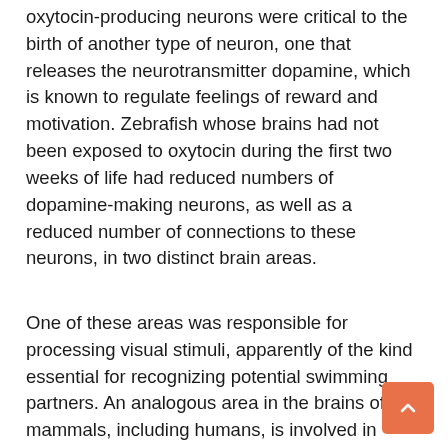oxytocin-producing neurons were critical to the birth of another type of neuron, one that releases the neurotransmitter dopamine, which is known to regulate feelings of reward and motivation. Zebrafish whose brains had not been exposed to oxytocin during the first two weeks of life had reduced numbers of dopamine-making neurons, as well as a reduced number of connections to these neurons, in two distinct brain areas.
One of these areas was responsible for processing visual stimuli, apparently of the kind essential for recognizing potential swimming partners. An analogous area in the brains of mammals, including humans, is involved in processing visual cues in social situations. It